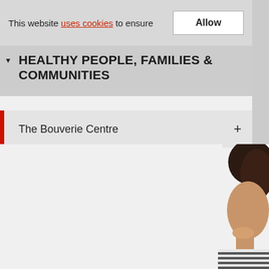This website uses cookies to ensure
HEALTHY PEOPLE, FAMILIES & COMMUNITIES
The Bouverie Centre
[Figure (photo): Partial photo of a person visible on the right side of the page, cropped]